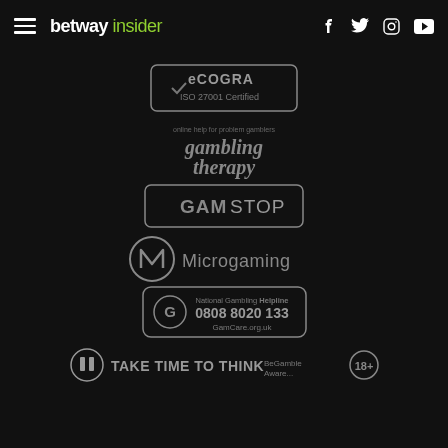betway insider — navigation header with social icons (Facebook, Twitter, Instagram, YouTube)
[Figure (logo): eCOGRA ISO 27001 Certified badge — grey rounded rectangle with checkmark and text]
[Figure (logo): Gambling Therapy logo — grey text reading 'online help for problem gamblers / gambling therapy']
[Figure (logo): GamStop logo — grey rounded rectangle with GAM STOP text]
[Figure (logo): Microgaming logo — grey stylized M icon with Microgaming text]
[Figure (logo): GamCare National Gambling Helpline badge — grey rounded rectangle with G icon and 0808 8020 133 / GamCare.org.uk]
[Figure (logo): Take Time To Think logo with pause icon — and BeGambleAware logo]
[Figure (logo): VISA logo — partially visible at bottom, grey text]